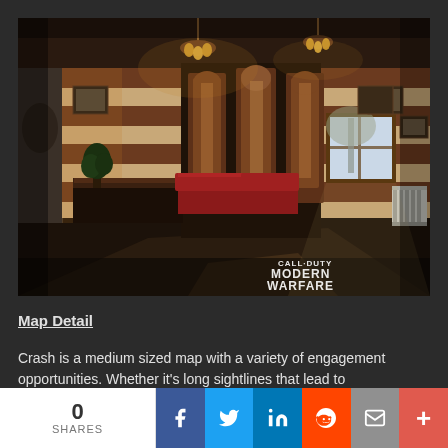[Figure (screenshot): Call of Duty: Modern Warfare game screenshot showing interior of a building with warm lighting, chandeliers, striped walls, a reception desk, red booth seating, and a radiator. CALL DUTY MODERN WARFARE watermark in bottom right.]
Map Detail
Crash is a medium sized map with a variety of engagement opportunities. Whether it's long sightlines that lead to
0 SHARES | Facebook | Twitter | LinkedIn | Reddit | Email | More